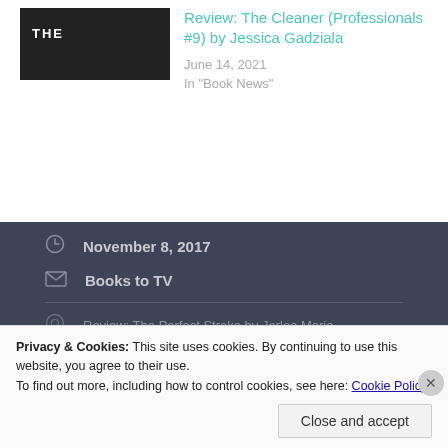[Figure (photo): Dark book cover thumbnail with text 'THE' visible in white]
Review: The Cleaner (Professionals #9) by Jessica Gadziala
June 14, 2021
In "Book News"
November 8, 2017
Books to TV
Review: The Perfect Stroke by Jorlee Marie
Privacy & Cookies: This site uses cookies. By continuing to use this website, you agree to their use.
To find out more, including how to control cookies, see here: Cookie Policy
Close and accept